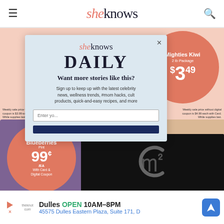sheknows
[Figure (photo): Grocery store sale flyer background showing Oscar Mayer Deli Fresh Lunch Meat, Mighties Kiwi at $3.49, Blueberries at 99 cents/EA with Card & Digital Coupon, with cookies and produce images]
[Figure (screenshot): SheKnows Daily newsletter signup modal overlay with logo, headline 'Want more stories like this?', body text about signing up for celebrity news, wellness trends, mom hacks, cult products, quick-and-easy recipes, email input, and subscribe button]
[Figure (screenshot): Video player overlay on black background showing loading spinner C icon, progress bar, and playback controls with timestamp 00:00 / 13:52]
Dulles  OPEN  10AM–8PM  45575 Dulles Eastern Plaza, Suite 171, D